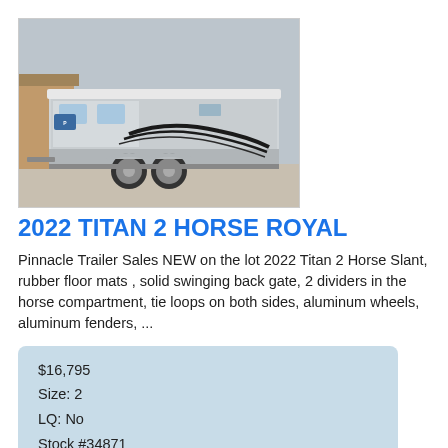[Figure (photo): Silver horse trailer (2022 Titan 2 Horse Royal) parked outdoors, showing side profile with dual axle wheels, windows at top, and decorative black graphics on the side. A building is visible in the background.]
2022 TITAN 2 HORSE ROYAL
Pinnacle Trailer Sales NEW on the lot 2022 Titan 2 Horse Slant, rubber floor mats , solid swinging back gate, 2 dividers in the horse compartment, tie loops on both sides, aluminum wheels, aluminum fenders, ...
$16,795
Size: 2
LQ: No
Stock #34871